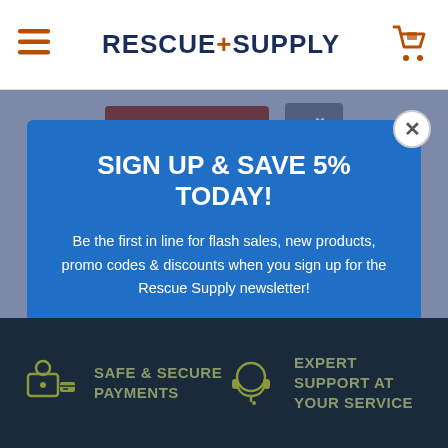RESCUE+SUPPLY
[Figure (screenshot): Add to cart button and compress icon on grey background]
SIGN UP & SAVE 5% TODAY!
Be the first in line for flash sales, new products, promo codes & discounts when you sign up for the Rescue Supply newsletter!
Email address (input field)
Subscribe (button)
SAFE & SECURE PAYMENTS
EXPERT SUPPORT AT YOUR SERVICE